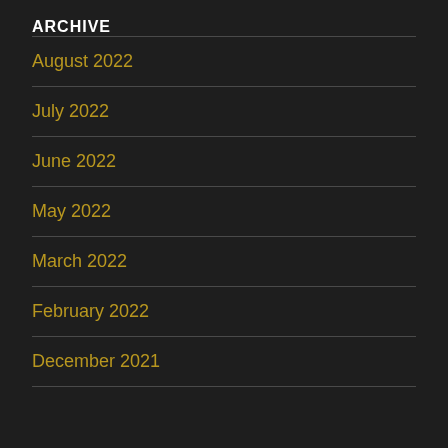ARCHIVE
August 2022
July 2022
June 2022
May 2022
March 2022
February 2022
December 2021